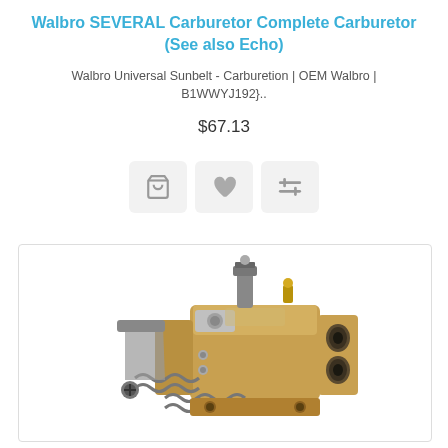Walbro SEVERAL Carburetor Complete Carburetor (See also Echo)
Walbro Universal Sunbelt - Carburetion | OEM Walbro | B1WWYJ192}..
$67.13
[Figure (other): Three UI icon buttons: shopping cart, heart/wishlist, and compare/sliders icons, each in a light grey rounded square button]
[Figure (photo): Photograph of a Walbro carburetor - a metallic small engine carburetor with gold/bronze colored body, showing intake ports, spring mechanism, throttle linkage, and fuel nipple on top]